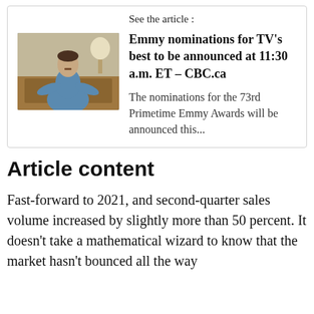See the article :
Emmy nominations for TV's best to be announced at 11:30 a.m. ET – CBC.ca
[Figure (photo): A man in a blue sweater gesturing with his hands in an indoor setting with lamps and wooden furniture in the background.]
The nominations for the 73rd Primetime Emmy Awards will be announced this...
Article content
Fast-forward to 2021, and second-quarter sales volume increased by slightly more than 50 percent. It doesn't take a mathematical wizard to know that the market hasn't bounced all the way back. 2021's numbers haven't recognised by all...